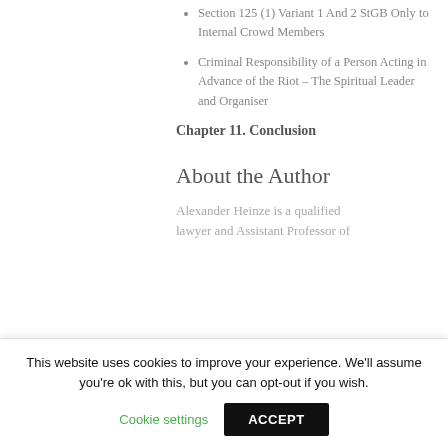Section 125 (1) Variant 1 And 2 StGB Only to Internal Crowd Members
Criminal Responsibility of a Person Acting in Advance of the Riot – The Spiritual Leader and Organiser
Chapter 11. Conclusion
About the Author
Alexander Heinze is a qualified lawyer and Assistant Professor of
This website uses cookies to improve your experience. We'll assume you're ok with this, but you can opt-out if you wish.
Cookie settings  ACCEPT